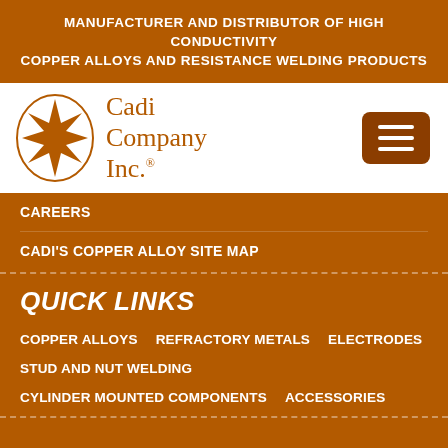MANUFACTURER AND DISTRIBUTOR OF HIGH CONDUCTIVITY COPPER ALLOYS AND RESISTANCE WELDING PRODUCTS
[Figure (logo): Cadi Company Inc. logo — eight-pointed star inside an oval, with company name text]
CAREERS
CADI'S COPPER ALLOY SITE MAP
QUICK LINKS
COPPER ALLOYS   REFRACTORY METALS   ELECTRODES
STUD AND NUT WELDING
CYLINDER MOUNTED COMPONENTS   ACCESSORIES